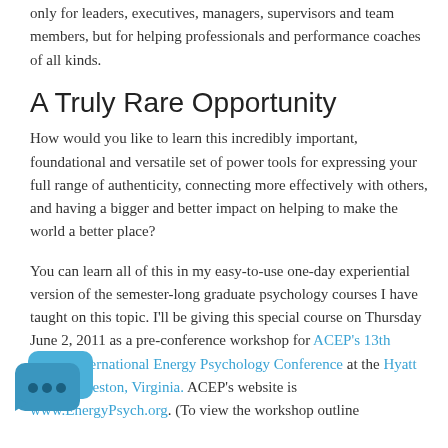only for leaders, executives, managers, supervisors and team members, but for helping professionals and performance coaches of all kinds.
A Truly Rare Opportunity
How would you like to learn this incredibly important, foundational and versatile set of power tools for expressing your full range of authenticity, connecting more effectively with others, and having a bigger and better impact on helping to make the world a better place?
You can learn all of this in my easy-to-use one-day experiential version of the semester-long graduate psychology courses I have taught on this topic. I'll be giving this special course on Thursday June 2, 2011 as a pre-conference workshop for ACEP's 13th annual international Energy Psychology Conference at the Hyatt Hotel in Reston, Virginia. ACEP's website is www.EnergyPsych.org. (To view the workshop outline